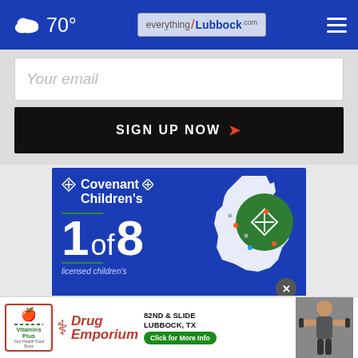70° | everything/Lubbock.com
Your email
SIGN UP NOW ›
[Figure (illustration): Covenant Children's advertisement: blue background, logo with diamond cross symbol, text '1 of 8', map of Texas with green circle, 'licensed children's' text, close button]
[Figure (illustration): Drug Emporium advertisement: VitaminsPlus logo, Drug Emporium logo in red italic, address 82nd & Slide, Lubbock TX, Click for More Info button, person with weights]